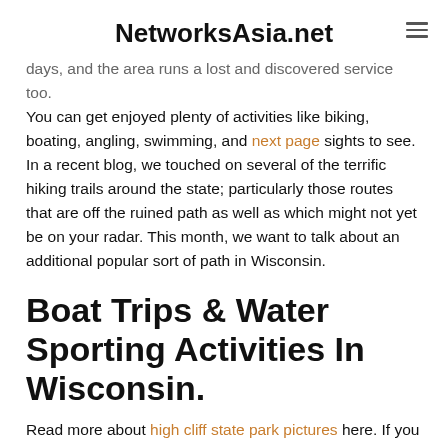NetworksAsia.net
days, and the area runs a lost and discovered service too. You can get enjoyed plenty of activities like biking, boating, angling, swimming, and next page sights to see. In a recent blog, we touched on several of the terrific hiking trails around the state; particularly those routes that are off the ruined path as well as which might not yet be on your radar. This month, we want to talk about an additional popular sort of path in Wisconsin.
Boat Trips & Water Sporting Activities In Wisconsin.
Read more about high cliff state park pictures here. If you consider on your own a sea enthusiast, this state park camp